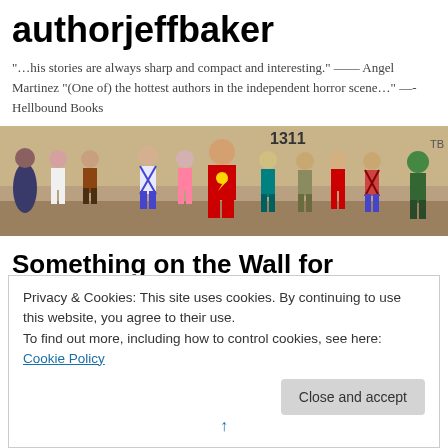authorjeffbaker
"…his stories are always sharp and compact and interesting." —— Angel Martinez "(One of) the hottest authors in the independent horror scene…" —-Hellbound Books
[Figure (illustration): Banner image showing a group of colorful cartoon/comic-style characters including superheroes and adventurers standing together]
Something on the Wall for
Privacy & Cookies: This site uses cookies. By continuing to use this website, you agree to their use.
To find out more, including how to control cookies, see here: Cookie Policy